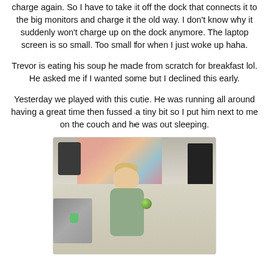charge again. So I have to take it off the dock that connects it to the big monitors and charge it the old way. I don't know why it suddenly won't charge up on the dock anymore. The laptop screen is so small. Too small for when I just woke up haha.
Trevor is eating his soup he made from scratch for breakfast lol. He asked me if I wanted some but I declined this early.
Yesterday we played with this cutie. He was running all around having a great time then fussed a tiny bit so I put him next to me on the couch and he was out sleeping.
[Figure (photo): A toddler with blonde hair wearing a green outfit sitting on a carpet floor holding a green ball, with a cat visible on the left, colorful fabric/curtain in the background, a dark bag and TV monitor visible.]